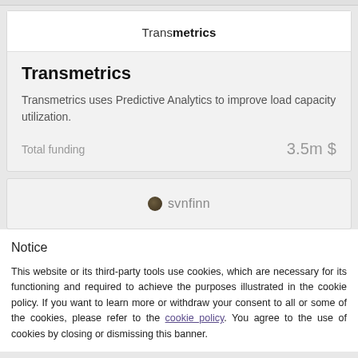[Figure (logo): Transmetrics logo: word 'Trans' in regular weight and 'metrics' in bold, centered in a white box]
Transmetrics
Transmetrics uses Predictive Analytics to improve load capacity utilization.
Total funding    3.5m $
[Figure (logo): Synfinn logo: small dark circular icon followed by 'svnfinn' text in gray]
Notice
This website or its third-party tools use cookies, which are necessary for its functioning and required to achieve the purposes illustrated in the cookie policy. If you want to learn more or withdraw your consent to all or some of the cookies, please refer to the cookie policy. You agree to the use of cookies by closing or dismissing this banner.